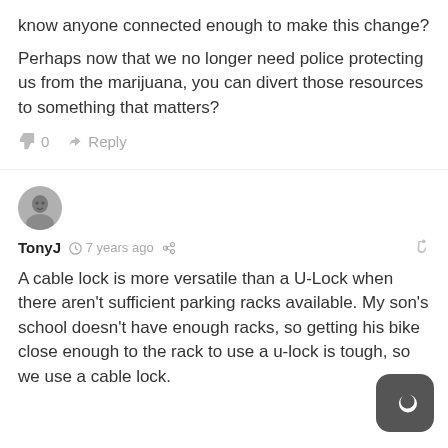know anyone connected enough to make this change?
Perhaps now that we no longer need police protecting us from the marijuana, you can divert those resources to something that matters?
👍 0   ➜ Reply
[Figure (photo): User avatar portrait of TonyJ]
TonyJ  🕐 7 years ago  < (share icon)   🔗
A cable lock is more versatile than a U-Lock when there aren't sufficient parking racks available. My son's school doesn't have enough racks, so getting his bike close enough to the rack to use a u-lock is tough, so we use a cable lock.
[Figure (logo): Dark rounded square button with a crescent moon icon]